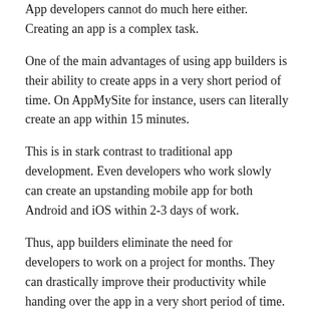App developers cannot do much here either. Creating an app is a complex task.
One of the main advantages of using app builders is their ability to create apps in a very short period of time. On AppMySite for instance, users can literally create an app within 15 minutes.
This is in stark contrast to traditional app development. Even developers who work slowly can create an upstanding mobile app for both Android and iOS within 2-3 days of work.
Thus, app builders eliminate the need for developers to work on a project for months. They can drastically improve their productivity while handing over the app in a very short period of time.
#3 – Faster testing
App developers cannot do much here either. Creating an app is a